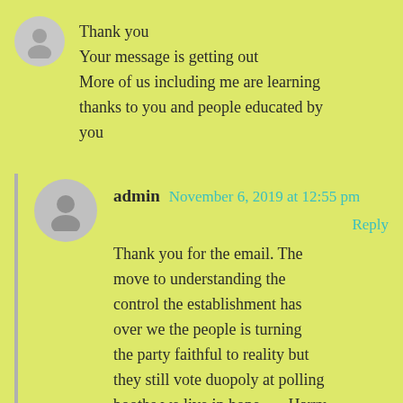Thank you
Your message is getting out
More of us including me are learning thanks to you and people educated by you
admin  November 6, 2019 at 12:55 pm
Reply
Thank you for the email. The move to understanding the control the establishment has over we the people is turning the party faithful to reality but they still vote duopoly at polling booths we live in hope – – Harry